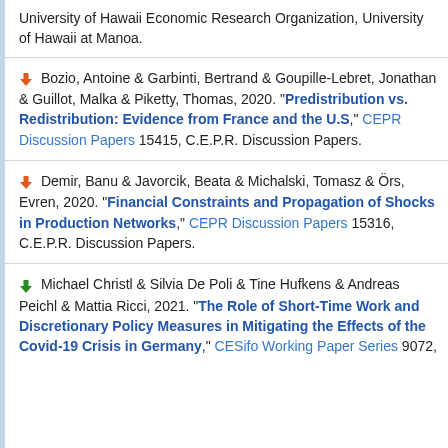University of Hawaii Economic Research Organization, University of Hawaii at Manoa.
Bozio, Antoine & Garbinti, Bertrand & Goupille-Lebret, Jonathan & Guillot, Malka & Piketty, Thomas, 2020. "Predistribution vs. Redistribution: Evidence from France and the U.S," CEPR Discussion Papers 15415, C.E.P.R. Discussion Papers.
Demir, Banu & Javorcik, Beata & Michalski, Tomasz & Örs, Evren, 2020. "Financial Constraints and Propagation of Shocks in Production Networks," CEPR Discussion Papers 15316, C.E.P.R. Discussion Papers.
Michael Christl & Silvia De Poli & Tine Hufkens & Andreas Peichl & Mattia Ricci, 2021. "The Role of Short-Time Work and Discretionary Policy Measures in Mitigating the Effects of the Covid-19 Crisis in Germany," CESifo Working Paper Series 9072,